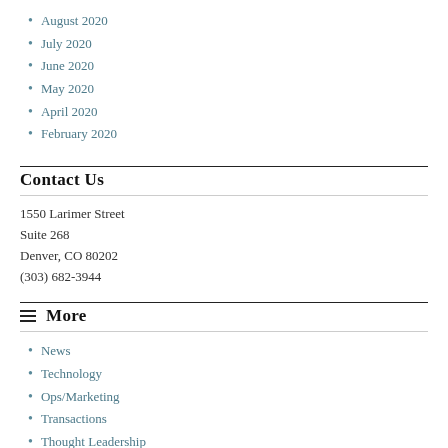August 2020
July 2020
June 2020
May 2020
April 2020
February 2020
Contact Us
1550 Larimer Street
Suite 268
Denver, CO 80202
(303) 682-3944
≡ More
News
Technology
Ops/Marketing
Transactions
Thought Leadership
About Us
Contributors